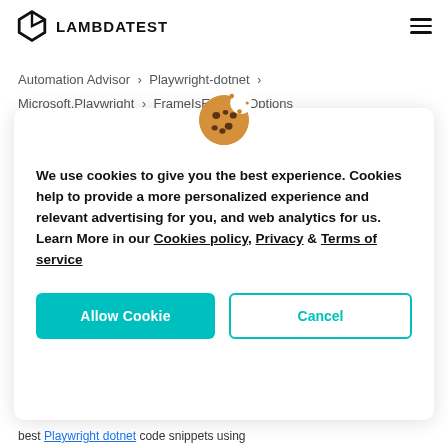LAMBDATEST
Automation Advisor > Playwright-dotnet > Microsoft.Playwright > FrameIsEditableOptions
We use cookies to give you the best experience. Cookies help to provide a more personalized experience and relevant advertising for you, and web analytics for us. Learn More in our Cookies policy, Privacy & Terms of service
Allow Cookie   Cancel
best Playwright dotnet code snippets using